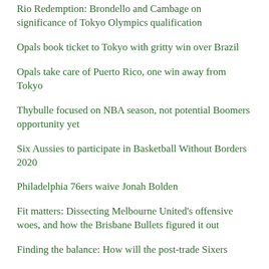Rio Redemption: Brondello and Cambage on significance of Tokyo Olympics qualification
Opals book ticket to Tokyo with gritty win over Brazil
Opals take care of Puerto Rico, one win away from Tokyo
Thybulle focused on NBA season, not potential Boomers opportunity yet
Six Aussies to participate in Basketball Without Borders 2020
Philadelphia 76ers waive Jonah Bolden
Fit matters: Dissecting Melbourne United's offensive woes, and how the Brisbane Bullets figured it out
Finding the balance: How will the post-trade Sixers